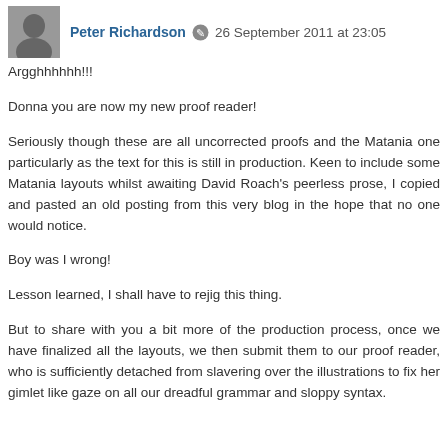Peter Richardson  26 September 2011 at 23:05
Argghhhhhh!!!
Donna you are now my new proof reader!
Seriously though these are all uncorrected proofs and the Matania one particularly as the text for this is still in production. Keen to include some Matania layouts whilst awaiting David Roach's peerless prose, I copied and pasted an old posting from this very blog in the hope that no one would notice.
Boy was I wrong!
Lesson learned, I shall have to rejig this thing.
But to share with you a bit more of the production process, once we have finalized all the layouts, we then submit them to our proof reader, who is sufficiently detached from slavering over the illustrations to fix her gimlet like gaze on all our dreadful grammar and sloppy syntax.